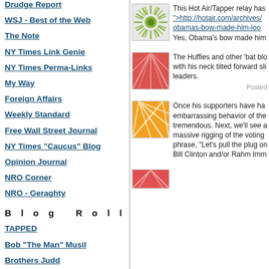Drudge Report
WSJ - Best of the Web
The Note
NY Times Link Genie
NY Times Perma-Links
My Way
Foreign Affairs
Weekly Standard
Free Wall Street Journal
NY Times "Caucus" Blog
Opinion Journal
NRO Corner
NRO - Geraghty
Blog Roll
TAPPED
Bob "The Man" Musil
Brothers Judd
Luskin Conspiracy
[Figure (illustration): Green sunburst circular logo thumbnail]
This Hot Air/Tapper relay has ">http://hotair.com/archives/obamas-bow-made-him-loo Yes, Obama's bow made him
[Figure (illustration): Red/pink abstract geometric pattern thumbnail]
The Huffies and other 'bat blo with his neck tilted forward sli leaders.
Posted
[Figure (illustration): Orange/yellow abstract geometric pattern thumbnail]
Once his supporters have ha embarrassing behavior of the tremendous. Next, we'll see a massive rigging of the voting phrase, "Let's pull the plug on Bill Clinton and/or Rahm Imm
[Figure (illustration): Red/coral abstract pattern thumbnail (partial)]